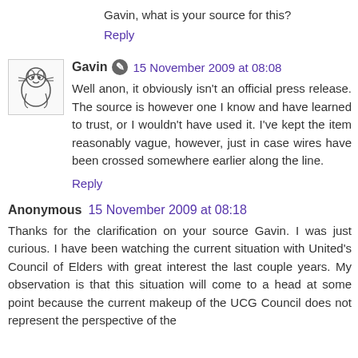Gavin, what is your source for this?
Reply
Gavin  15 November 2009 at 08:08
Well anon, it obviously isn't an official press release. The source is however one I know and have learned to trust, or I wouldn't have used it. I've kept the item reasonably vague, however, just in case wires have been crossed somewhere earlier along the line.
Reply
Anonymous  15 November 2009 at 08:18
Thanks for the clarification on your source Gavin. I was just curious. I have been watching the current situation with United's Council of Elders with great interest the last couple years. My observation is that this situation will come to a head at some point because the current makeup of the UCG Council does not represent the perspective of the